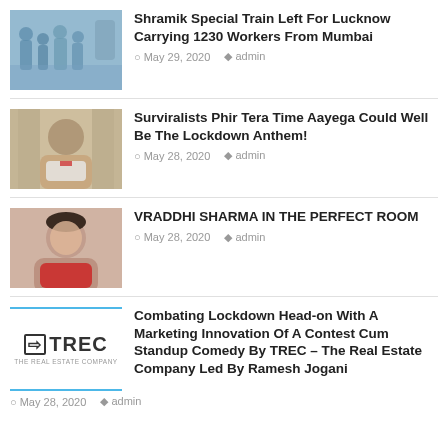Shramik Special Train Left For Lucknow Carrying 1230 Workers From Mumbai — May 29, 2020 admin
Surviralists Phir Tera Time Aayega Could Well Be The Lockdown Anthem! — May 28, 2020 admin
VRADDHI SHARMA IN THE PERFECT ROOM — May 28, 2020 admin
Combating Lockdown Head-on With A Marketing Innovation Of A Contest Cum Standup Comedy By TREC – The Real Estate Company Led By Ramesh Jogani — May 28, 2020 admin